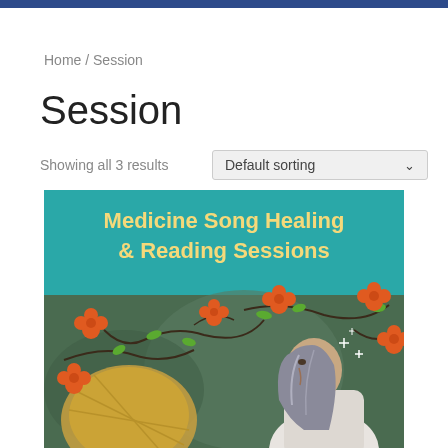Home / Session
Session
Showing all 3 results
[Figure (illustration): Product listing card showing 'Medicine Song Healing & Reading Sessions' with a teal banner header in gold text, and an illustrated scene of a woman with grey hair surrounded by orange flowers on dark vines, holding a drum-like instrument, on a forest background.]